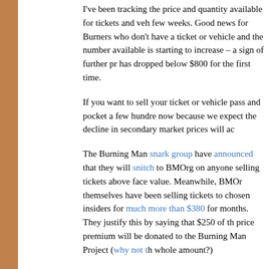I've been tracking the price and quantity available for tickets and ve... few weeks. Good news for Burners who don't have a ticket or vehicle... and the number available is starting to increase – a sign of further p... has dropped below $800 for the first time.
If you want to sell your ticket or vehicle pass and pocket a few hundr... now because we expect the decline in secondary market prices will a...
The Burning Man snark group have announced that they will snitch t... BMOrg on anyone selling tickets above face value. Meanwhile, BMO... themselves have been selling tickets to chosen insiders for much more than $380 for months. They justify this by saying that $250 of th... price premium will be donated to the Burning Man Project (why not t... whole amount?)
More than 2500 tickets have now been sold back to BMOrg through... STEP at face value (minus a loss for the Burner on transaction costs... you sell a ticket to STEP at face value, does BMOrg try to resell this... $650 to insiders, before it goes into the STEP re-sale queue? It's im... can only suspect. Even most of the people employed by BMOrg wou... algorithms and data involved in this process. Will only 1000 tickets b... is difficult to say except for a very few insiders at BMOrg and Ticketf... any IRS filings for their 501(c)3 non-profit, or their Afterburn Report.